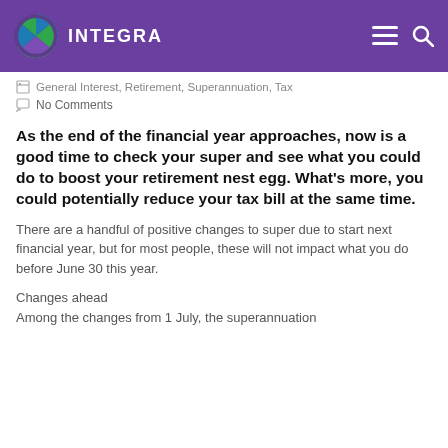INTEGRA
General Interest, Retirement, Superannuation, Tax
No Comments
As the end of the financial year approaches, now is a good time to check your super and see what you could do to boost your retirement nest egg. What's more, you could potentially reduce your tax bill at the same time.
There are a handful of positive changes to super due to start next financial year, but for most people, these will not impact what you do before June 30 this year.
Changes ahead
Among the changes from 1 July, the superannuation